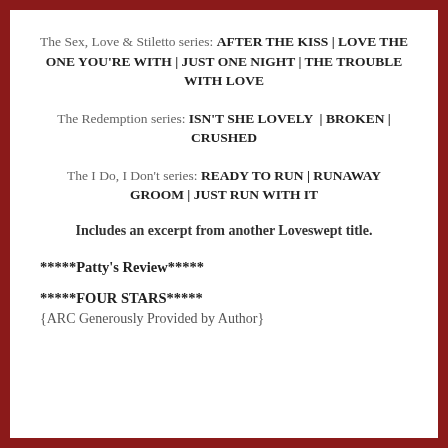The Sex, Love & Stiletto series: AFTER THE KISS | LOVE THE ONE YOU'RE WITH | JUST ONE NIGHT | THE TROUBLE WITH LOVE
The Redemption series: ISN'T SHE LOVELY | BROKEN | CRUSHED
The I Do, I Don't series: READY TO RUN | RUNAWAY GROOM | JUST RUN WITH IT
Includes an excerpt from another Loveswept title.
*****Patty's Review*****
*****FOUR STARS*****
{ARC Generously Provided by Author}